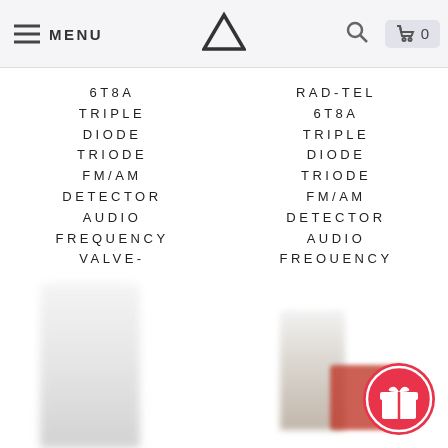MENU | [Logo] | [Search] | Cart 0
6T8A TRIPLE DIODE TRIODE FM/AM DETECTOR AUDIO FREQUENCY VALVE-BANGYBANG TUBES
$40.00
RAD-TEL 6T8A TRIPLE DIODE TRIODE FM/AM DETECTOR AUDIO FREQUENCY VALVE-BANGYBANG TUBES
$40.00
[Figure (photo): Blurred product photos of vacuum tubes/valves at the bottom of the page, with a red gift badge icon in the bottom right corner]